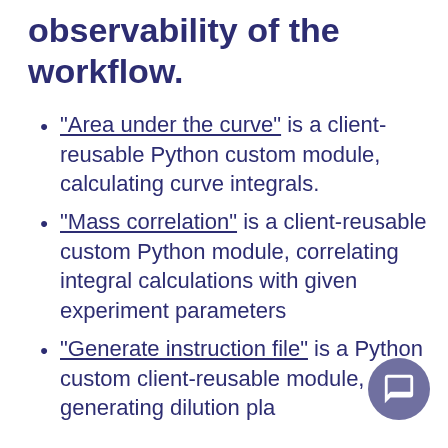observability of the workflow.
"Area under the curve" is a client-reusable Python custom module, calculating curve integrals.
"Mass correlation" is a client-reusable custom Python module, correlating integral calculations with given experiment parameters
"Generate instruction file" is a Python custom client-reusable module, generating dilution pla...